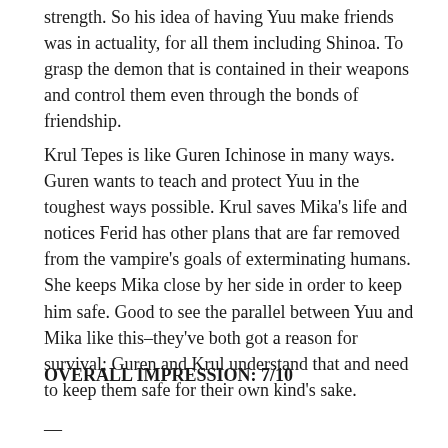strength.  So his idea of having Yuu make friends was in actuality, for all them including Shinoa.  To grasp the demon that is contained in their weapons and control them even through the bonds of friendship.
Krul Tepes is like Guren Ichinose in many ways.  Guren wants to teach and protect Yuu in the toughest ways possible.  Krul saves Mika's life and notices Ferid has other plans that are far removed from the vampire's goals of exterminating humans.  She keeps Mika close by her side in order to keep him safe.  Good to see the parallel between Yuu and Mika like this–they've both got a reason for survival;  Guren and Krul understand that and need to keep them safe for their own kind's sake.
OVERALL IMPRESSION: 7/10
—